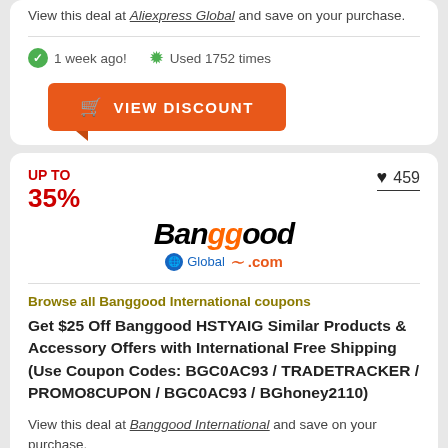View this deal at Aliexpress Global and save on your purchase.
1 week ago!   Used 1752 times
VIEW DISCOUNT
UP TO 35%
459
[Figure (logo): Banggood Global .com logo]
Browse all Banggood International coupons
Get $25 Off Banggood HSTYAIG Similar Products & Accessory Offers with International Free Shipping (Use Coupon Codes: BGC0AC93 / TRADETRACKER / PROMO8CUPON / BGC0AC93 / BGhoney2110)
View this deal at Banggood International and save on your purchase.